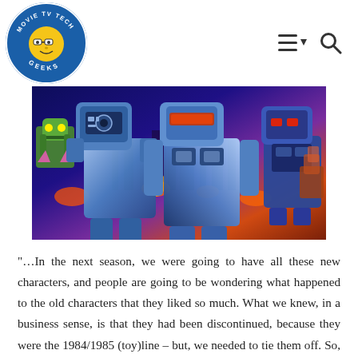Movie TV Tech Geeks
[Figure (illustration): Colorful illustration of Transformers robots (Decepticons and Autobots) in a battle scene with a purple and orange sky background]
“…In the next season, we were going to have all these new characters, and people are going to be wondering what happened to the old characters that they liked so much. What we knew, in a business sense, is that they had been discontinued, because they were the 1984/1985 (toy)line – but, we needed to tie them off. So, we had this one scene where the Autobots basically had to run through a gauntlet of Decepticons. Which basically wiped out the entire ’84 product line in one massive “charge of the light brigade”. So, whoever wasn’t discontinued, stumbled to the end. That scene didn’t make it into the